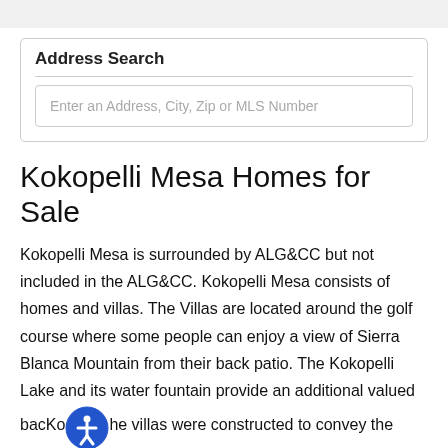Address Search
Enter an Address, City, Zip or MLS Number
Kokopelli Mesa Homes for Sale
Kokopelli Mesa is surrounded by ALG&CC but not included in the ALG&CC. Kokopelli Mesa consists of homes and villas. The Villas are located around the golf course where some people can enjoy a view of Sierra Blanca Mountain from their back patio. The Kokopelli Lake and its water fountain provide an additional valued backdrop. The villas were constructed to convey the beauty of the southwest.